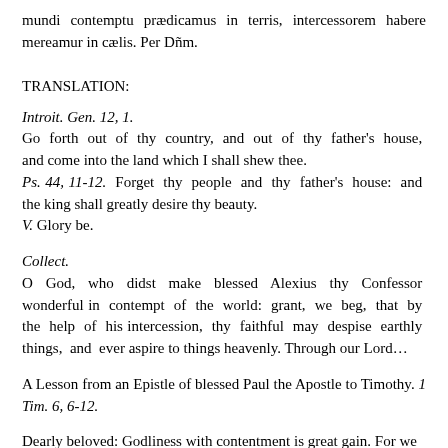mundi contemptu prædicamus in terris, intercessorem habere mereamur in cælis. Per Dñm.
TRANSLATION:
Introit. Gen. 12, 1.
Go forth out of thy country, and out of thy father's house, and come into the land which I shall shew thee.
Ps. 44, 11-12. Forget thy people and thy father's house: and the king shall greatly desire thy beauty.
V. Glory be.
Collect.
O God, who didst make blessed Alexius thy Confessor wonderful in contempt of the world: grant, we beg, that by the help of his intercession, thy faithful may despise earthly things, and ever aspire to things heavenly. Through our Lord…
A Lesson from an Epistle of blessed Paul the Apostle to Timothy. 1 Tim. 6, 6-12.
Dearly beloved: Godliness with contentment is great gain. For we